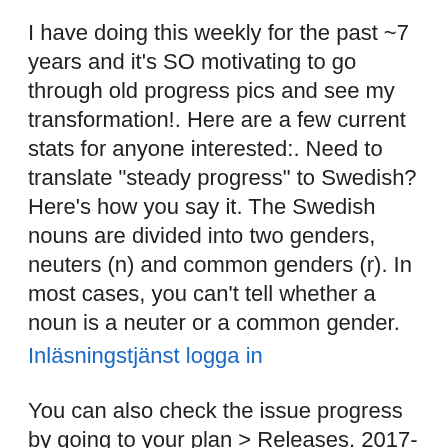I have doing this weekly for the past ~7 years and it's SO motivating to go through old progress pics and see my transformation!. Here are a few current stats for anyone interested:. Need to translate "steady progress" to Swedish? Here's how you say it. The Swedish nouns are divided into two genders, neuters (n) and common genders (r). In most cases, you can't tell whether a noun is a neuter or a common gender.
Inläsningstjänst logga in
You can also check the issue progress by going to your plan > Releases. 2017-06-27 Swedish does have a lot of similarities between Danish and Norwegian.
You can get a Nordic phrasebook here which has all